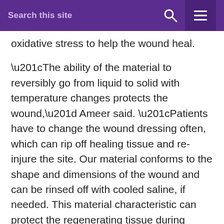Search this site
oxidative stress to help the wound heal.
“The ability of the material to reversibly go from liquid to solid with temperature changes protects the wound,” Ameer said. “Patients have to change the wound dressing often, which can rip off healing tissue and re-injure the site. Our material conforms to the shape and dimensions of the wound and can be rinsed off with cooled saline, if needed. This material characteristic can protect the regenerating tissue during dressing changes.”
In collaboration with Zhang, Ameer imaged